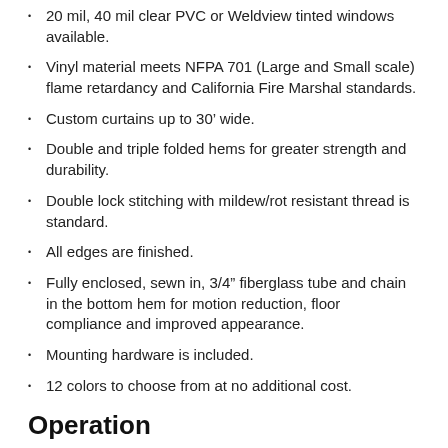20 mil, 40 mil clear PVC or Weldview tinted windows available.
Vinyl material meets NFPA 701 (Large and Small scale) flame retardancy and California Fire Marshal standards.
Custom curtains up to 30’ wide.
Double and triple folded hems for greater strength and durability.
Double lock stitching with mildew/rot resistant thread is standard.
All edges are finished.
Fully enclosed, sewn in, 3/4” fiberglass tube and chain in the bottom hem for motion reduction, floor compliance and improved appearance.
Mounting hardware is included.
12 colors to choose from at no additional cost.
Operation